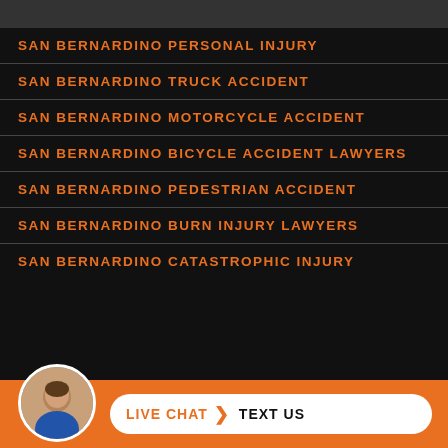SAN BERNARDINO PERSONAL INJURY
SAN BERNARDINO TRUCK ACCIDENT
SAN BERNARDINO MOTORCYCLE ACCIDENT
SAN BERNARDINO BICYCLE ACCIDENT LAWYERS
SAN BERNARDINO PEDESTRIAN ACCIDENT
SAN BERNARDINO BURN INJURY LAWYERS
SAN BERNARDINO CATASTROPHIC INJURY
[Figure (screenshot): Bottom bar with attorney avatar, Live Chat and Text Us buttons on orange background]